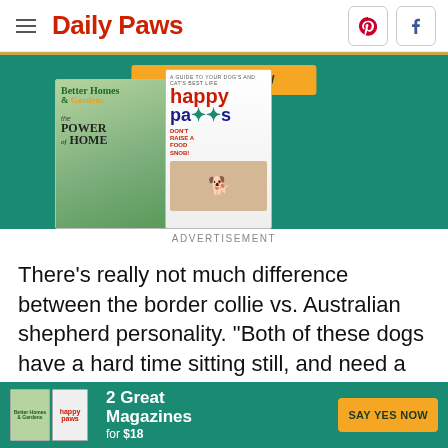Daily Paws
[Figure (illustration): Advertisement showing Better Homes & Gardens and Happy Paws magazines on a teal background with a SAY YES NOW button]
ADVERTISEMENT
There's really not much difference between the border collie vs. Australian shepherd personality. "Both of these dogs have a hard time sitting still, and need a lot of mental...
[Figure (illustration): Bottom banner ad for Better Homes & Gardens and Happy Paws magazines - 2 Great Magazines for $18, SAY YES NOW button]